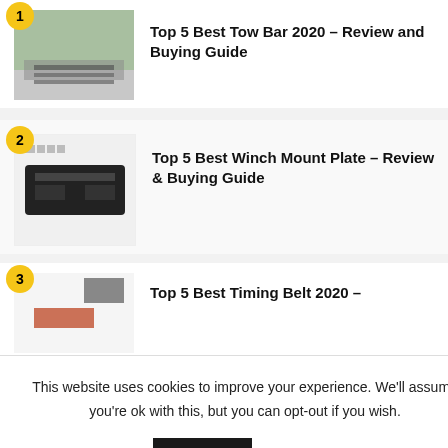Top 5 Best Tow Bar 2020 – Review and Buying Guide
Top 5 Best Winch Mount Plate – Review & Buying Guide
Top 5 Best Timing Belt 2020 –
0 – t and Rack e
This website uses cookies to improve your experience. We'll assume you're ok with this, but you can opt-out if you wish.
Accept
Read More